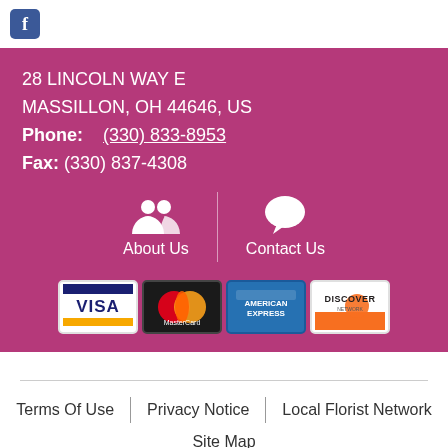[Figure (logo): Facebook icon - blue rounded square with white F]
28 LINCOLN WAY E
MASSILLON, OH 44646, US
Phone: (330) 833-8953
Fax: (330) 837-4308
[Figure (infographic): About Us icon with people silhouette and Contact Us icon with speech bubble, separated by vertical divider]
[Figure (infographic): Payment card logos: Visa, MasterCard, American Express, Discover]
Terms Of Use | Privacy Notice | Local Florist Network
Site Map
© 2022 A Victorian Reflection. All Rights Reserved.
[Figure (logo): TrustedSite badge with green checkmark]